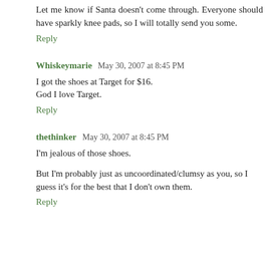Let me know if Santa doesn't come through. Everyone should have sparkly knee pads, so I will totally send you some.
Reply
Whiskeymarie  May 30, 2007 at 8:45 PM
I got the shoes at Target for $16.
God I love Target.
Reply
thethinker  May 30, 2007 at 8:45 PM
I'm jealous of those shoes.
But I'm probably just as uncoordinated/clumsy as you, so I guess it's for the best that I don't own them.
Reply